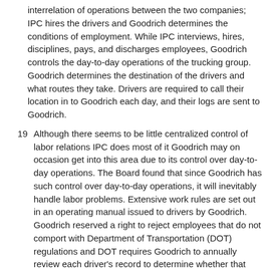interrelation of operations between the two companies; IPC hires the drivers and Goodrich determines the conditions of employment. While IPC interviews, hires, disciplines, pays, and discharges employees, Goodrich controls the day-to-day operations of the trucking group. Goodrich determines the destination of the drivers and what routes they take. Drivers are required to call their location in to Goodrich each day, and their logs are sent to Goodrich.
19  Although there seems to be little centralized control of labor relations IPC does most of it Goodrich may on occasion get into this area due to its control over day-to-day operations. The Board found that since Goodrich has such control over day-to-day operations, it will inevitably handle labor problems. Extensive work rules are set out in an operating manual issued to drivers by Goodrich. Goodrich reserved a right to reject employees that do not comport with Department of Transportation (DOT) regulations and DOT requires Goodrich to annually review each driver's record to determine whether that driver meets minimum requirements for safe driving. While IPC sets the drivers' wages, Goodrich reimburses IPC and presumably has some control over those wages since it can rescind the IPC-Goodrich contract on thirty days' notice. Finally, although the control of labor relations is one factor to be considered, it is not controlling in and of itself.